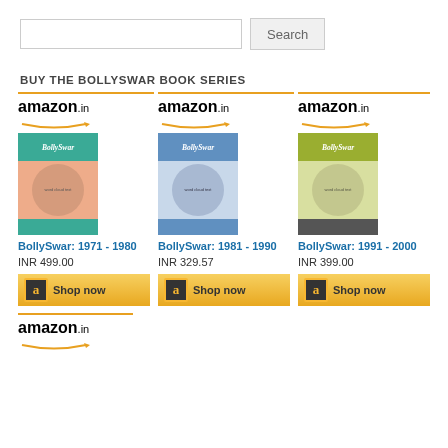Search
BUY THE BOLLYSWAR BOOK SERIES
[Figure (other): Amazon.in shop widget showing BollySwar: 1971-1980, INR 499.00 with Shop now button]
[Figure (other): Amazon.in shop widget showing BollySwar: 1981-1990, INR 329.57 with Shop now button]
[Figure (other): Amazon.in shop widget showing BollySwar: 1991-2000, INR 399.00 with Shop now button]
[Figure (logo): Amazon.in logo at bottom]